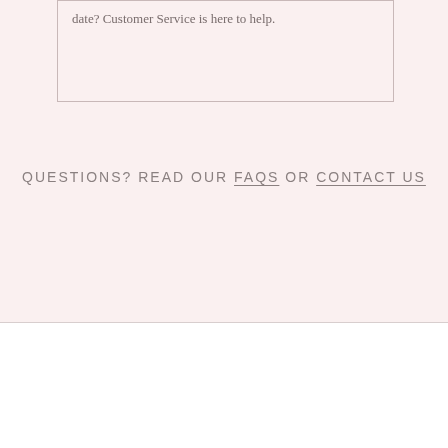date? Customer Service is here to help.
QUESTIONS? READ OUR FAQS OR CONTACT US
[Figure (logo): Rubi and Lib Studio circular logo — dark navy circle with white botanical illustration and text around the border reading RUBI AND LIB STUDIO]